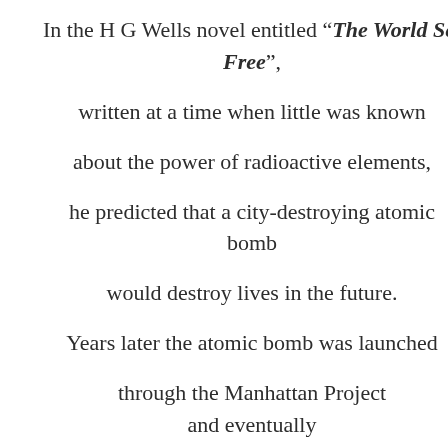In the H G Wells novel entitled “The World Set Free”, written at a time when little was known about the power of radioactive elements, he predicted that a city-destroying atomic bomb would destroy lives in the future. Years later the atomic bomb was launched through the Manhattan Project and eventually dropped on the Japanese city of Hiroshima